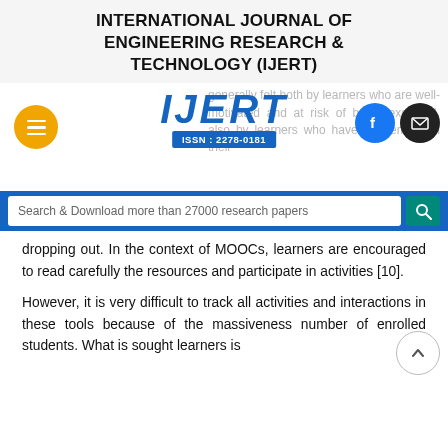INTERNATIONAL JOURNAL OF ENGINEERING RESEARCH & TECHNOLOGY (IJERT)
[Figure (logo): IJERT logo with ISSN: 2278-0181, orange hamburger menu button, Facebook and email social icons, and faded background text about learners]
[Figure (other): Search & Download more than 27000 research papers search bar with teal search button]
dropping out. In the context of MOOCs, learners are encouraged to read carefully the resources and participate in activities [10].
However, it is very difficult to track all activities and interactions in these tools because of the massiveness number of enrolled students. What is sought learners is